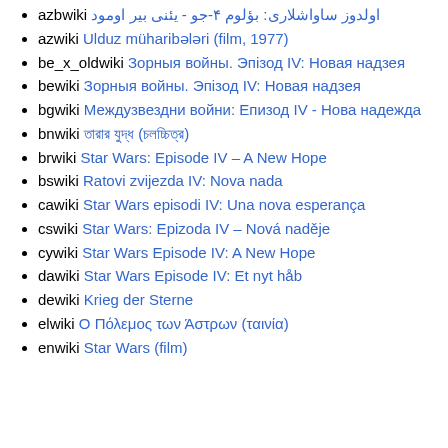azbwiki اولدوز ساواشلاری: بؤلوم ۴-جو - یئنی بیر اومود
azwiki Ulduz müharibələri (film, 1977)
be_x_oldwiki Зорныя войны. Эпізод IV: Новая надзея
bewiki Зорныя войны. Эпізод IV: Новая надзея
bgwiki Междузвездни войни: Епизод IV - Нова надежда
bnwiki তারার যুদ্ধ (চলচ্চিত্র)
brwiki Star Wars: Episode IV – A New Hope
bswiki Ratovi zvijezda IV: Nova nada
cawiki Star Wars episodi IV: Una nova esperança
cswiki Star Wars: Epizoda IV – Nová naděje
cywiki Star Wars Episode IV: A New Hope
dawiki Star Wars Episode IV: Et nyt håb
dewiki Krieg der Sterne
elwiki Ο Πόλεμος των Άστρων (ταινία)
enwiki Star Wars (film)